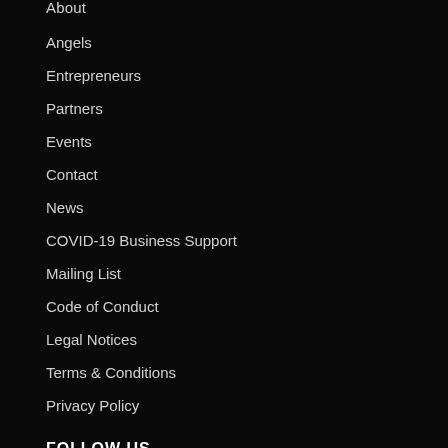About
Angels
Entrepreneurs
Partners
Events
Contact
News
COVID-19 Business Support
Mailing List
Code of Conduct
Legal Notices
Terms & Conditions
Privacy Policy
FOLLOW US
[Figure (other): Three circular social media icons (Facebook, Twitter/X, and another platform) in white on dark background]